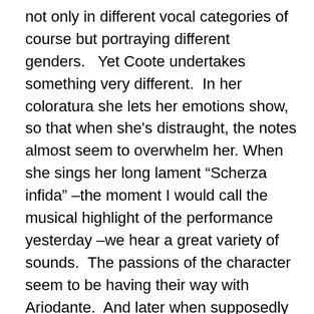not only in different vocal categories of course but portraying different genders.   Yet Coote undertakes something very different.  In her coloratura she lets her emotions show, so that when she's distraught, the notes almost seem to overwhelm her. When she sings her long lament “Scherza infida” –the moment I would call the musical highlight of the performance yesterday –we hear a great variety of sounds.  The passions of the character seem to be having their way with Ariodante.  And later when supposedly celebrating the upcoming happy resolution, Coote offers something very subtle and profound, in the aria “Dopo notte, atra e funesta”.  It’s usually the signal of the reversal of fortunes and signal of a happy ending to come.
But there are some significant differences in this production, and yet his own online review...